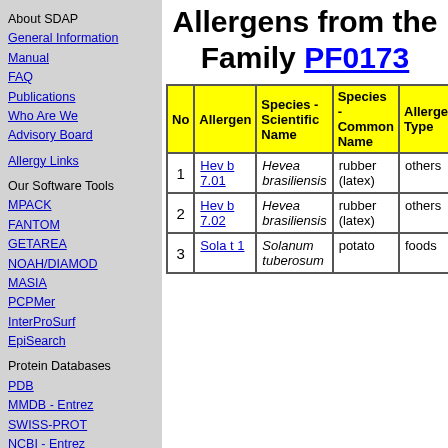About SDAP
General Information
Manual
FAQ
Publications
Who Are We
Advisory Board
Allergy Links
Our Software Tools
MPACK
FANTOM
GETAREA
NOAH/DIAMOD
MASIA
PCPMer
InterProSurf
EpiSearch
Protein Databases
PDB
MMDB - Entrez
SWISS-PROT
NCBI - Entrez
PIR
Protein Classification
CATH
Allergens from the Family PF0173
| No | Allergen | Species - Scientific Name | Species - Common Name | Allergen Type |
| --- | --- | --- | --- | --- |
| 1 | Hev b 7.01 | Hevea brasiliensis | rubber (latex) | others |
| 2 | Hev b 7.02 | Hevea brasiliensis | rubber (latex) | others |
| 3 | Sola t 1 | Solanum tuberosum | potato | foods |